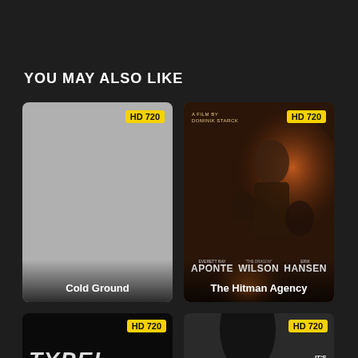YOU MAY ALSO LIKE
[Figure (screenshot): Movie card for 'Cold Ground' with gray placeholder image and HD 720 badge]
[Figure (screenshot): Movie card for 'The Hitman Agency' with action movie poster showing actors APONTE, WILSON, HANSEN, directed by Dominik Starck. HD 720 badge.]
[Figure (screenshot): Movie card for 'TYPEI' with dark background. HD 720 badge.]
[Figure (screenshot): Movie card with hooded figure and text 'IT'S WAITING...' HD 720 badge.]